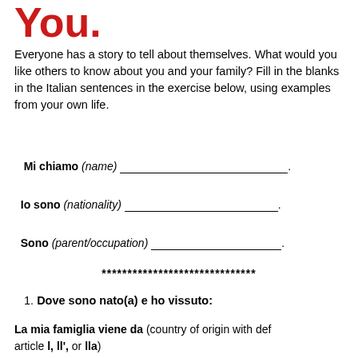You.
Everyone has a story to tell about themselves. What would you like others to know about you and your family? Fill in the blanks in the Italian sentences in the exercise below, using examples from your own life.
Mi chiamo (name) _______________________________
Io sono (nationality) ______________________________
Sono (parent/occupation) _________________________
******************************
1. Dove sono nato(a) e ho vissuto:
La mia famiglia viene da (country of origin with definite article l, ll', or lla)